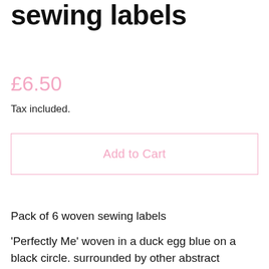sewing labels
£6.50
Tax included.
Add to Cart
Pack of 6 woven sewing labels
'Perfectly Me' woven in a duck egg blue on a black circle. surrounded by other abstract